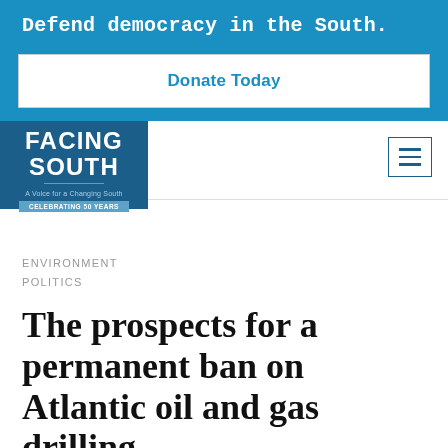Defend democracy in the South.
Donate Today
[Figure (logo): Facing South logo — A Voice for a Changing South, Celebrating 50 Years]
ENVIRONMENT
POLITICS
The prospects for a permanent ban on Atlantic oil and gas drilling